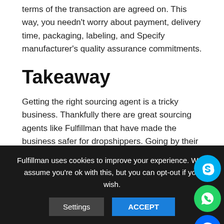terms of the transaction are agreed on. This way, you needn't worry about payment, delivery time, packaging, labeling, and Specify manufacturer's quality assurance commitments.
Takeaway
Getting the right sourcing agent is a tricky business. Thankfully there are great sourcing agents like Fulfillman that have made the business safer for dropshippers. Going by their offerings and customer reviews, we would recommend Fulfillman as the better of the two sourcing agents.
Do you need professional help and guidance in your China sourcing? Contact us today at Fulfillman. We are a reputable
Fulfillman uses cookies to improve your experience. We'll assume you're ok with this, but you can opt-out if you wish.